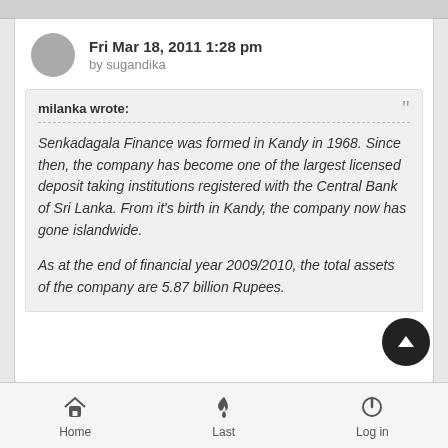Fri Mar 18, 2011 1:28 pm
by sugandika
milanka wrote:
Senkadagala Finance was formed in Kandy in 1968. Since then, the company has become one of the largest licensed deposit taking institutions registered with the Central Bank of Sri Lanka. From it's birth in Kandy, the company now has gone islandwide.

As at the end of financial year 2009/2010, the total assets of the company are 5.87 billion Rupees.
Home   Last   Log in